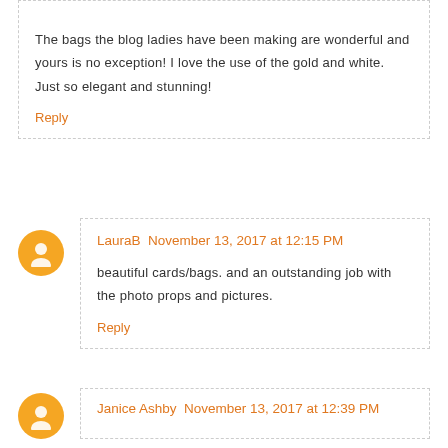The bags the blog ladies have been making are wonderful and yours is no exception! I love the use of the gold and white. Just so elegant and stunning!
Reply
LauraB  November 13, 2017 at 12:15 PM
beautiful cards/bags. and an outstanding job with the photo props and pictures.
Reply
Janice Ashby  November 13, 2017 at 12:39 PM